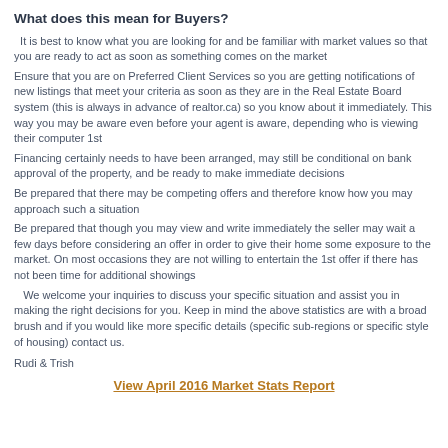What does this mean for Buyers?
It is best to know what you are looking for and be familiar with market values so that you are ready to act as soon as something comes on the market
Ensure that you are on Preferred Client Services so you are getting notifications of new listings that meet your criteria as soon as they are in the Real Estate Board system (this is always in advance of realtor.ca) so you know about it immediately. This way you may be aware even before your agent is aware, depending who is viewing their computer 1st
Financing certainly needs to have been arranged, may still be conditional on bank approval of the property, and be ready to make immediate decisions
Be prepared that there may be competing offers and therefore know how you may approach such a situation
Be prepared that though you may view and write immediately the seller may wait a few days before considering an offer in order to give their home some exposure to the market. On most occasions they are not willing to entertain the 1st offer if there has not been time for additional showings
We welcome your inquiries to discuss your specific situation and assist you in making the right decisions for you. Keep in mind the above statistics are with a broad brush and if you would like more specific details (specific sub-regions or specific style of housing) contact us.
Rudi & Trish
View April 2016 Market Stats Report